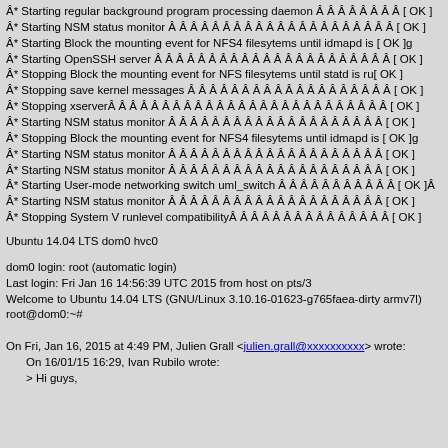Â* Starting regular background program processing daemon Â Â Â Â Â Â Â Â [ OK ]
Â* Starting NSM status monitor Â Â Â Â Â Â Â Â Â Â Â Â Â Â Â Â Â Â Â Â [ OK ]
Â* Starting Block the mounting event for NFS4 filesytems until idmapd is [ OK ]g
Â* Starting OpenSSH server Â Â Â Â Â Â Â Â Â Â Â Â Â Â Â Â Â Â Â Â Â Â [ OK ]
Â* Stopping Block the mounting event for NFS filesytems until statd is ru[ OK ]
Â* Stopping save kernel messages Â Â Â Â Â Â Â Â Â Â Â Â Â Â Â Â Â Â Â [ OK ]
Â* Stopping xserverÂ Â Â Â Â Â Â Â Â Â Â Â Â Â Â Â Â Â Â Â Â Â Â Â Â Â [ OK ]
Â* Starting NSM status monitor Â Â Â Â Â Â Â Â Â Â Â Â Â Â Â Â Â Â Â Â [ OK ]
Â* Stopping Block the mounting event for NFS4 filesytems until idmapd is [ OK ]g
Â* Starting NSM status monitor Â Â Â Â Â Â Â Â Â Â Â Â Â Â Â Â Â Â Â Â [ OK ]
Â* Starting NSM status monitor Â Â Â Â Â Â Â Â Â Â Â Â Â Â Â Â Â Â Â Â [ OK ]
Â* Starting User-mode networking switch uml_switch Â Â Â Â Â Â Â Â Â Â Â [ OK ]Â
Â* Starting NSM status monitor Â Â Â Â Â Â Â Â Â Â Â Â Â Â Â Â Â Â Â Â [ OK ]
Â* Stopping System V runlevel compatibilityÂ Â Â Â Â Â Â Â Â Â Â Â Â Â Â [ OK ]
Ubuntu 14.04 LTS dom0 hvc0
dom0 login: root (automatic login)
Last login: Fri Jan 16 14:56:39 UTC 2015 from host on pts/3
Welcome to Ubuntu 14.04 LTS (GNU/Linux 3.10.16-01623-g765faea-dirty armv7l)
root@dom0:~#
On Fri, Jan 16, 2015 at 4:49 PM, Julien Grall <julien.grall@xxxxxxxxxx> wrote:
On 16/01/15 16:29, Ivan Rubilo wrote:
> Hi guys,